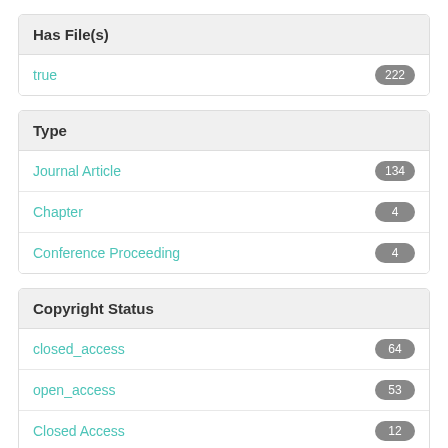Has File(s)
true  222
Type
Journal Article  134
Chapter  4
Conference Proceeding  4
Copyright Status
closed_access  64
open_access  53
Closed Access  12